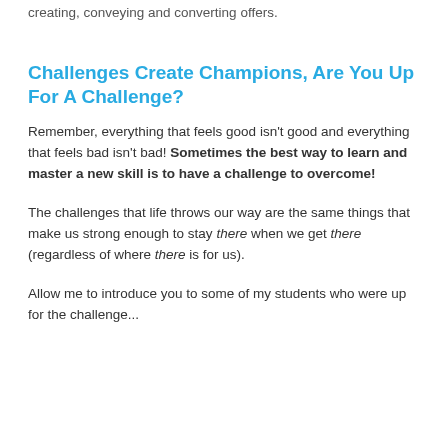creating, conveying and converting offers.
Challenges Create Champions, Are You Up For A Challenge?
Remember, everything that feels good isn't good and everything that feels bad isn't bad! Sometimes the best way to learn and master a new skill is to have a challenge to overcome!
The challenges that life throws our way are the same things that make us strong enough to stay there when we get there (regardless of where there is for us).
Allow me to introduce you to some of my students who were up for the challenge...